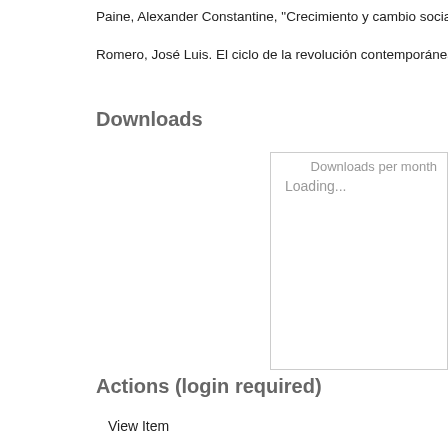Paine, Alexander Constantine, "Crecimiento y cambio social en Medellín..."
Romero, José Luis. El ciclo de la revolución contemporánea. 4°. ed., Bu...
Downloads
[Figure (other): Downloads per month chart area showing 'Loading...' placeholder text]
Actions (login required)
View Item